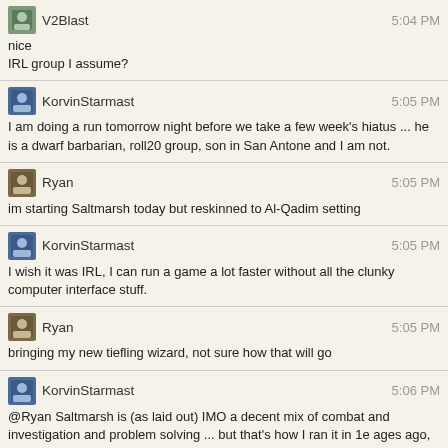V2Blast 5:04 PM
nice
IRL group I assume?
KorvinStarmast 5:05 PM
I am doing a run tomorrow night before we take a few week's hiatus ... he is a dwarf barbarian, roll20 group, son in San Antone and I am not.
Ryan 5:05 PM
im starting Saltmarsh today but reskinned to Al-Qadim setting
KorvinStarmast 5:05 PM
I wish it was IRL, I can run a game a lot faster without all the clunky computer interface stuff.
Ryan 5:05 PM
bringing my new tiefling wizard, not sure how that will go
KorvinStarmast 5:06 PM
@Ryan Saltmarsh is (as laid out) IMO a decent mix of combat and investigation and problem solving ... but that's how I ran it in 1e ages ago, so maybe I am bringing assumptions with me.
Ryan 5:06 PM
nice! thats what im hoping for! though this is Adventures League and supposed to only take 3 sessions
KorvinStarmast 5:06 PM
(partial)